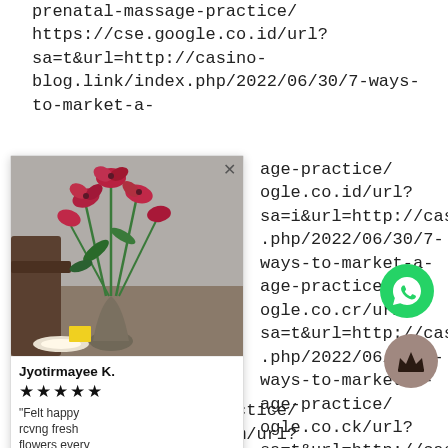prenatal-massage-practice/
https://cse.google.co.id/url?sa=t&url=http://casino-blog.link/index.php/2022/06/30/7-ways-to-market-a-
[popup] age-practice/
[popup] ogle.co.id/url?sa=i&url=http://casino-
[popup] .php/2022/06/30/7-ways-to-market-a-
[popup] age-practice/
[popup] ogle.co.cr/url?sa=t&url=http://casino-
[popup] .php/2022/06/30/7-ways-to-market-a-
[popup] age-practice/
[popup] ogle.co.ck/url?sa=t&url=http://casino-
[popup] .php/2022/06/30/7-ways-to-market-a-
[popup] age-practice/
[popup] ogle.co.bw/url?sa=t&url=http://casino-
[popup] .php/2022/06/30/7-ways-to-mo age-practice/
prenatal-massage-practice/
https://cse.google.cm/url?sa=t&url=http://casino-
[Figure (screenshot): Popup card showing flower photo, reviewer Jyotirmayee K. with 5 stars and review text, and Subscribe to Cut Flowe... bar with LOOX label]